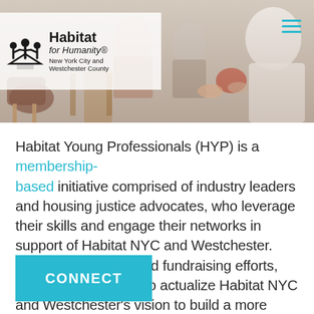[Figure (photo): Header photograph showing people seated in chairs at a meeting or event, partially visible; overlaid with Habitat for Humanity New York City and Westchester County logo on a semi-transparent white bar, and a hamburger menu icon in the top right corner.]
Habitat Young Professionals (HYP) is a membership-based initiative comprised of industry leaders and housing justice advocates, who leverage their skills and engage their networks in support of Habitat NYC and Westchester. Through advocacy and fundraising efforts, HYP members work to actualize Habitat NYC and Westchester's vision to build a more equitable New York.
CONNECT